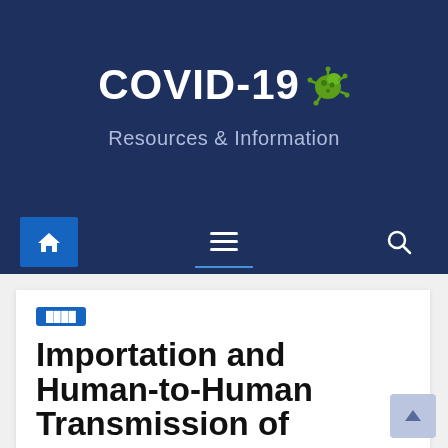COVID-19 Resources & Information
[Figure (screenshot): Website navigation bar with home icon (blue button), hamburger menu icon, and search icon on dark navy background]
████
Importation and Human-to-Human Transmission of